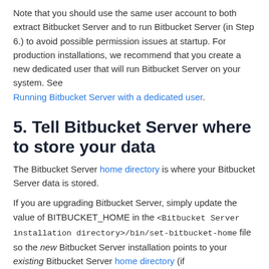Note that you should use the same user account to both extract Bitbucket Server and to run Bitbucket Server (in Step 6.) to avoid possible permission issues at startup. For production installations, we recommend that you create a new dedicated user that will run Bitbucket Server on your system. See Running Bitbucket Server with a dedicated user.
5. Tell Bitbucket Server where to store your data
The Bitbucket Server home directory is where your Bitbucket Server data is stored.
If you are upgrading Bitbucket Server, simply update the value of BITBUCKET_HOME in the <Bitbucket Server installation directory>/bin/set-bitbucket-home file so the new Bitbucket Server installation points to your existing Bitbucket Server home directory (if